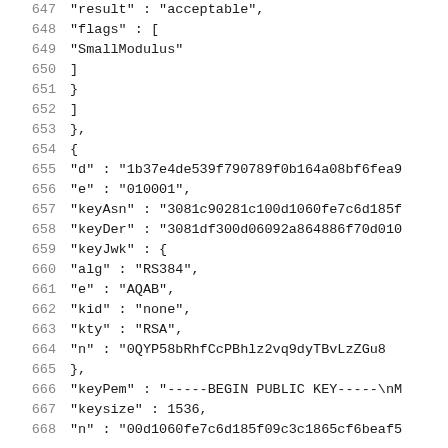647    "result" : "acceptable",
648    "flags" : [
649        "SmallModulus"
650    ]
651    }
652    ]
653    },
654    {
655    "d" : "1b37e4de539f790789f0b164a08bf6fea9...
656    "e" : "010001",
657    "keyAsn" : "3081c90281c100d1060fe7c6d185f...
658    "keyDer" : "3081df300d06092a864886f70d010...
659    "keyJwk" : {
660    "alg" : "RS384",
661    "e" : "AQAB",
662    "kid" : "none",
663    "kty" : "RSA",
664    "n" : "0QYP58bRhfCcPBhlz2vq9dyTBvLzZGu8...
665    },
666    "keyPem" : "-----BEGIN PUBLIC KEY-----\nM...
667    "keysize" : 1536,
668    "n" : "00d1060fe7c6d185f09c3c1865cf6beaf5...